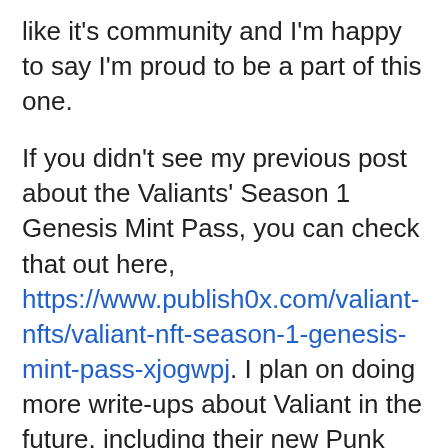like it's community and I'm happy to say I'm proud to be a part of this one.
If you didn't see my previous post about the Valiants' Season 1 Genesis Mint Pass, you can check that out here, https://www.publish0x.com/valiant-nfts/valiant-nft-season-1-genesis-mint-pass-xjogwpj. I plan on doing more write-ups about Valiant in the future, including their new Punk Mambo NFT being released on February 20th, so keep an eye out for all the exciting things Valiant has in store!